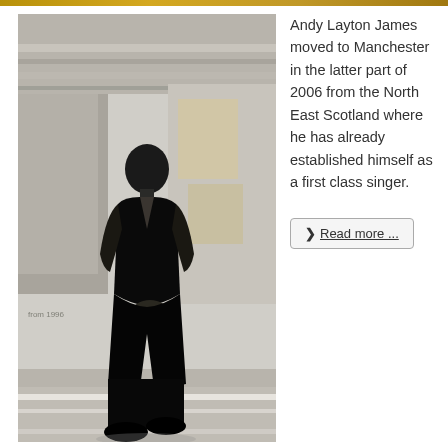[Figure (photo): Black and white photograph of a bald man wearing a sleeveless black top and dark trousers, walking in what appears to be an industrial or warehouse setting with pipes and metal structures visible in the background.]
Andy Layton James moved to Manchester in the latter part of 2006 from the North East Scotland where he has already established himself as a first class singer.
❯ Read more ...